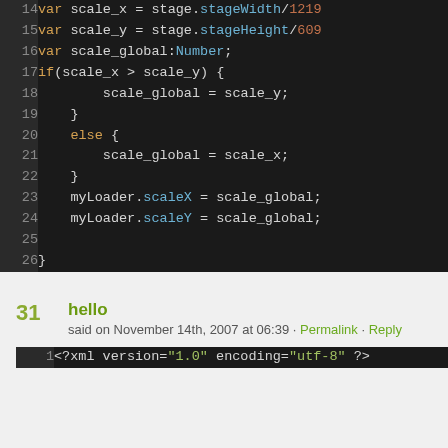[Figure (screenshot): Code editor screenshot showing ActionScript code lines 14-26 with syntax highlighting on dark background]
31 hello
said on November 14th, 2007 at 06:39 · Permalink · Reply
[Figure (screenshot): Code editor screenshot showing XML line 1: <?xml version="1.0" encoding="utf-8" ?>]